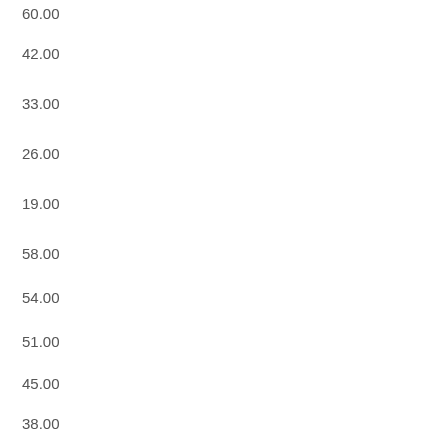60.00
42.00
33.00
26.00
19.00
58.00
54.00
51.00
45.00
38.00
20.00